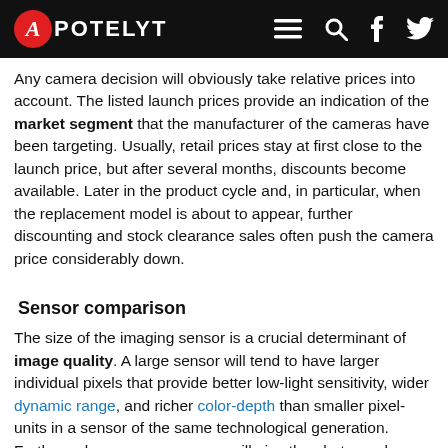APOTELYT
Any camera decision will obviously take relative prices into account. The listed launch prices provide an indication of the market segment that the manufacturer of the cameras have been targeting. Usually, retail prices stay at first close to the launch price, but after several months, discounts become available. Later in the product cycle and, in particular, when the replacement model is about to appear, further discounting and stock clearance sales often push the camera price considerably down.
Sensor comparison
The size of the imaging sensor is a crucial determinant of image quality. A large sensor will tend to have larger individual pixels that provide better low-light sensitivity, wider dynamic range, and richer color-depth than smaller pixel-units in a sensor of the same technological generation. Further, a large sensor camera will give the photographer